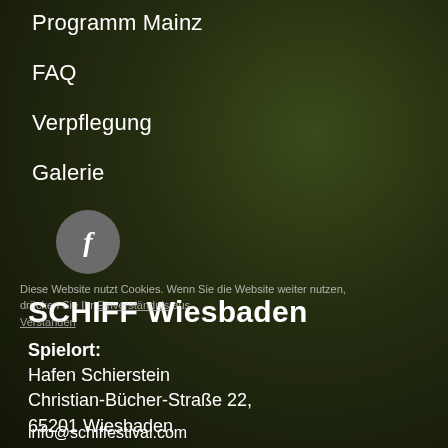Programm Mainz
FAQ
Verpflegung
Galerie
[Figure (logo): Facebook logo circular grey button with letter f]
SCHIFF Wiesbaden
Spielort:
Hafen Schierstein
Christian-Bücher-Straße 22,
65201 Wiesbaden
info@schiffestival.com
Diese Website nutzt Cookies. Wenn Sie die Website weiter nutzen, drücken Sie Ihr Einverständnis aus.
Verstanden